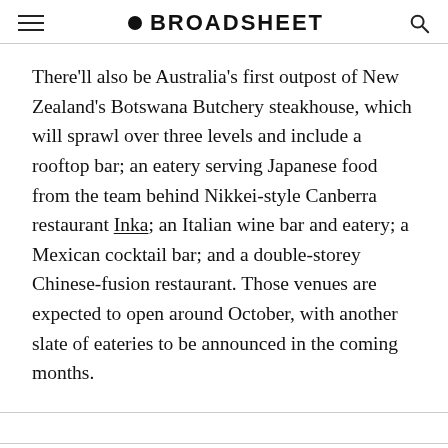BROADSHEET
There'll also be Australia's first outpost of New Zealand's Botswana Butchery steakhouse, which will sprawl over three levels and include a rooftop bar; an eatery serving Japanese food from the team behind Nikkei-style Canberra restaurant Inka; an Italian wine bar and eatery; a Mexican cocktail bar; and a double-storey Chinese-fusion restaurant. Those venues are expected to open around October, with another slate of eateries to be announced in the coming months.
The launch of the refreshed precinct is set to coincide with the reopening of the 1100-seat Theatre Royal, after